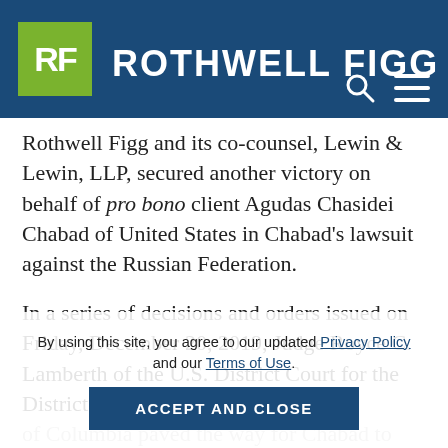ROTHWELL FIGG
Rothwell Figg and its co-counsel, Lewin & Lewin, LLP, secured another victory on behalf of pro bono client Agudas Chasidei Chabad of United States in Chabad's lawsuit against the Russian Federation.
In a series of decisions and orders issued on Friday, December 20, 2019, Judge Royce C. Lamberth of the U.S. District Court for the District of Columbia paved the way for Chabad to take discovery aimed at enforcing the Court's 2010 order that Russia return to Chabad the Schneerson archive and Chabad library items taken during the Russian Revolution, and parts of which
By using this site, you agree to our updated Privacy Policy and our Terms of Use.